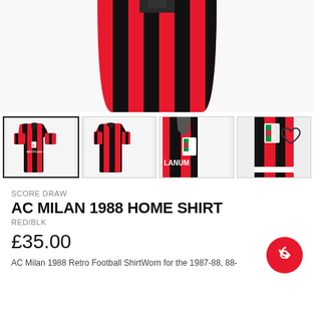[Figure (photo): Main product image of AC Milan 1988 Home Shirt showing red and black vertical stripes, top portion of the shirt]
[Figure (photo): Thumbnail gallery showing four views of the AC Milan 1988 Home Shirt: front view with MEDIOLANUM sponsor, back view, collar detail, and badge/sleeve detail]
SCORE DRAW
AC MILAN 1988 HOME SHIRT
RED/BLK
£35.00
AC Milan 1988 Retro Football ShirtWorn for the 1987-88, 88-